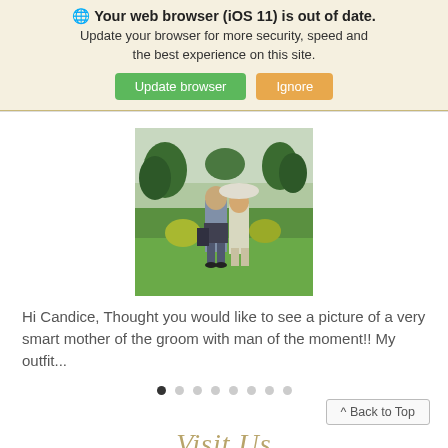🌐 Your web browser (iOS 11) is out of date. Update your browser for more security, speed and the best experience on this site. Update browser  Ignore
[Figure (photo): A man in a kilt and a woman in a white dress and large hat standing on a lawn with green trees and bushes in the background.]
Hi Candice, Thought you would like to see a picture of a very smart mother of the groom with man of the moment!!   My outfit...
^ Back to Top
Visit Us